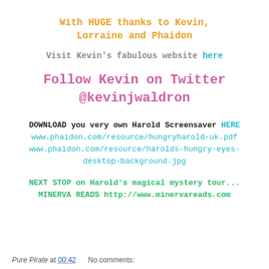With HUGE thanks to Kevin, Lorraine and Phaidon
Visit Kevin's fabulous website here
Follow Kevin on Twitter @kevinjwaldron
DOWNLOAD you very own Harold Screensaver HERE
www.phaidon.com/resource/hungryharold-uk.pdf
www.phaidon.com/resource/harolds-hungry-eyes-desktop-background.jpg
NEXT STOP on Harold's magical mystery tour... MINERVA READS http://www.minervareads.com
Pure Pirate at 00:42   No comments: